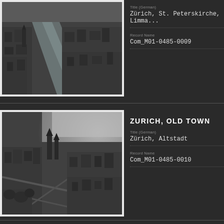[Figure (photo): Aerial black and white photograph of Zürich showing St. Peterskirche area and the Limmat river running through the city]
Title (German)
Zürich, St. Peterskirche, Limma...
Record Name
Com_M01-0485-0009
ZURICH, OLD TOWN
[Figure (photo): Aerial black and white photograph of Zürich Altstadt (Old Town) showing dense urban area with cathedral and waterfront]
Title (German)
Zürich, Altstadt
Record Name
Com_M01-0485-0010